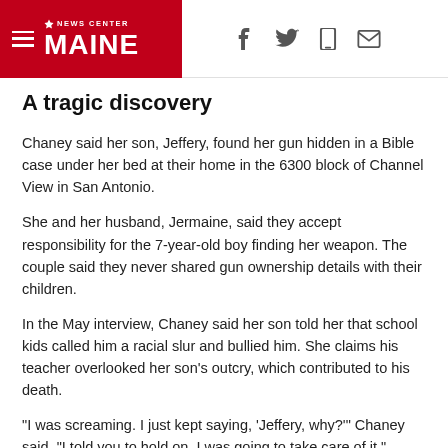NEWS CENTER MAINE
A tragic discovery
Chaney said her son, Jeffery, found her gun hidden in a Bible case under her bed at their home in the 6300 block of Channel View in San Antonio.
She and her husband, Jermaine, said they accept responsibility for the 7-year-old boy finding her weapon. The couple said they never shared gun ownership details with their children.
In the May interview, Chaney said her son told her that school kids called him a racial slur and bullied him. She claims his teacher overlooked her son's outcry, which contributed to his death.
"I was screaming. I just kept saying, 'Jeffery, why?'" Chaney said. "I told you to hold on. I was going to take care of it."